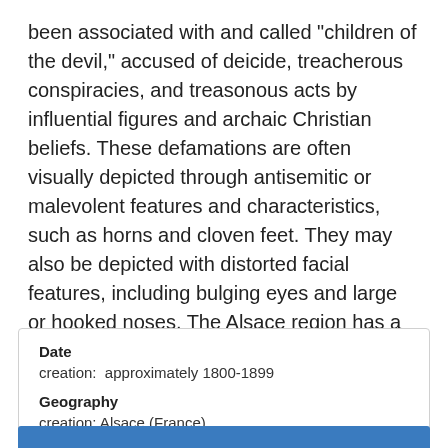been associated with and called "children of the devil," accused of deicide, treacherous conspiracies, and treasonous acts by influential figures and archaic Christian beliefs. These defamations are often visually depicted through antisemitic or malevolent features and characteristics, such as horns and cloven feet. They may also be depicted with distorted facial features, including bulging eyes and large or hooked noses. The Alsace region has a long history of crafting fine pottery that da...
⇒more
| Date |  |
| creation: | approximately 1800-1899 |
| Geography |  |
| creation: | Alsace (France) |
| Classification |  |